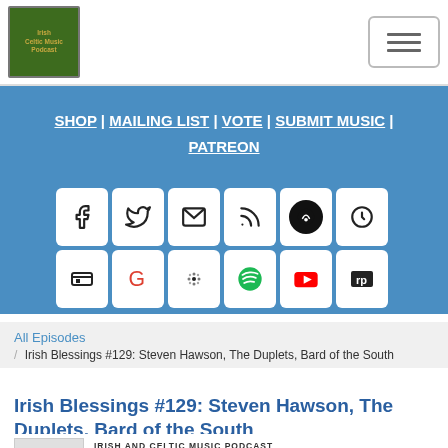[Figure (logo): Irish Celtic Music podcast logo — green background with golden decorative design]
[Figure (other): Hamburger menu button with three horizontal lines]
SHOP | MAILING LIST | VOTE | SUBMIT MUSIC | PATREON
[Figure (other): Social media icon grid: Facebook, Twitter, Email, RSS, Stitcher, Podcasts (top row); unknown, Google, Google Podcasts, Spotify, YouTube, RadioPublic (bottom row)]
All Episodes
/ Irish Blessings #129: Steven Hawson, The Duplets, Bard of the South
Irish Blessings #129: Steven Hawson, The Duplets, Bard of the South
IRISH AND CELTIC MUSIC PODCAST